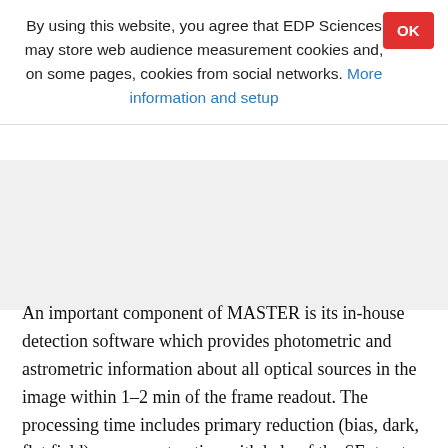By using this website, you agree that EDP Sciences may store web audience measurement cookies and, on some pages, cookies from social networks. More information and setup
An important component of MASTER is its in-house detection software which provides photometric and astrometric information about all optical sources in the image within 1–2 min of the frame readout. The processing time includes primary reduction (bias, dark, flat field), source extraction with help of the SExtractor algorithm4 (Bertin & Arnouts 1996), the identification of cataloged objects and the selection of unknown objects. New sources detected in two images at the same